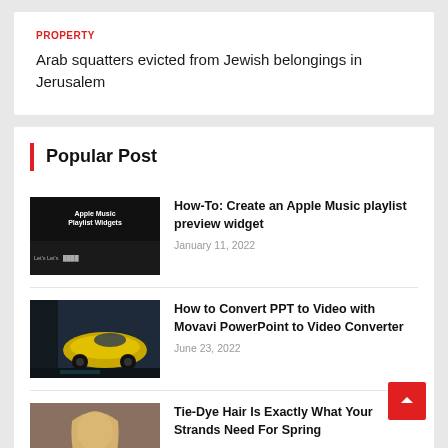PROPERTY
Arab squatters evicted from Jewish belongings in Jerusalem
Popular Post
[Figure (screenshot): Thumbnail image for Apple Music playlist article, dark background with Apple Music text]
How-To: Create an Apple Music playlist preview widget
January 11, 2022
[Figure (screenshot): Thumbnail showing a yellow sports car in a video editor interface (Movavi)]
How to Convert PPT to Video with Movavi PowerPoint to Video Converter
June 23, 2022
[Figure (photo): Thumbnail of a woman with long blonde hair, lifestyle/fashion photo]
Tie-Dye Hair Is Exactly What Your Strands Need For Spring